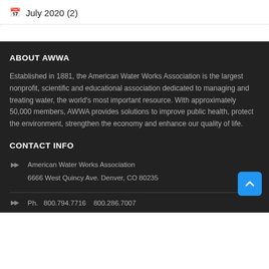July 2020 (2)
ABOUT AWWA
Established in 1881, the American Water Works Association is the largest nonprofit, scientific and educational association dedicated to managing and treating water, the world's most important resource. With approximately 50,000 members, AWWA provides solutions to improve public health, protect the environment, strengthen the economy and enhance our quality of life.
CONTACT INFO
American Water Works Association
6666 West Quincy Ave. Denver, CO 80235
Ph.    800.794.7716    800.286.7007